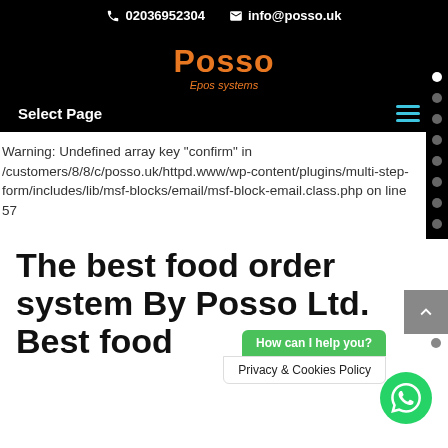02036952304  info@posso.uk
[Figure (logo): Posso logo with orange bold text and italic subtitle 'Epos systems' on black background]
Select Page
Warning: Undefined array key "confirm" in /customers/8/8/c/posso.uk/httpd.www/wp-content/plugins/multi-step-form/includes/lib/msf-blocks/email/msf-block-email.class.php on line 57
The best food order system By Posso Ltd. Best food
How can I help you?
Privacy & Cookies Policy